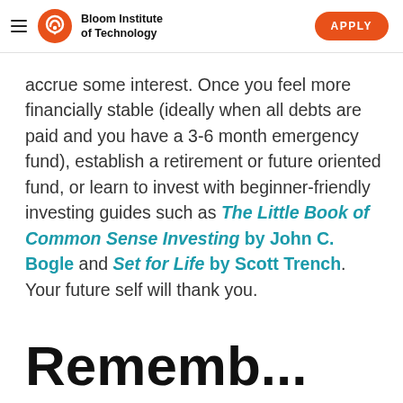Bloom Institute of Technology | APPLY
accrue some interest. Once you feel more financially stable (ideally when all debts are paid and you have a 3-6 month emergency fund), establish a retirement or future oriented fund, or learn to invest with beginner-friendly investing guides such as The Little Book of Common Sense Investing by John C. Bogle and Set for Life by Scott Trench. Your future self will thank you.
Rememb...